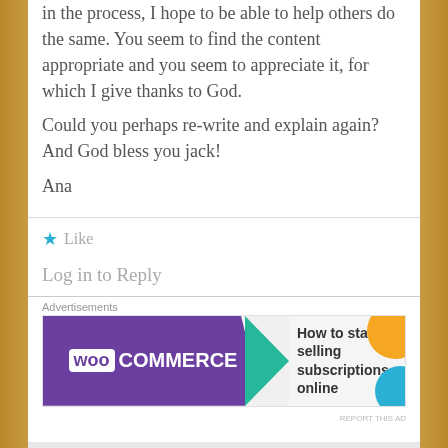in the process, I hope to be able to help others do the same. You seem to find the content appropriate and you seem to appreciate it, for which I give thanks to God. Could you perhaps re-write and explain again? And God bless you jack! Ana
★ Like
Log in to Reply
Advertisements
[Figure (screenshot): WooCommerce advertisement banner: purple left section with WooCommerce logo, green arrow, right section with text 'How to start selling subscriptions online', orange and blue decorative circles]
REPORT THIS AD
Advertisements
[Figure (screenshot): Macy's advertisement banner: red background with woman's face, text 'KISS BORING LIPS GOODBYE', SHOP NOW button, macy's star logo]
REPORT THIS AD